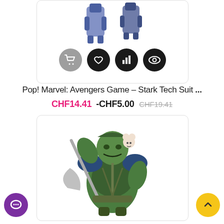[Figure (screenshot): Top portion of a product card showing two small Iron Man / Stark Tech Suit Funko Pop figures partially visible at the top, with four action icon circles below: grey cart icon, black heart icon, black bar chart icon, black eye icon.]
Pop! Marvel: Avengers Game - Stark Tech Suit ...
CHF14.41 -CHF5.00 CHF19.41
[Figure (photo): A detailed figurine of the Hulk in gladiator/warrior armor holding an axe weapon and a small stuffed bear, rendered in green and dark tones.]